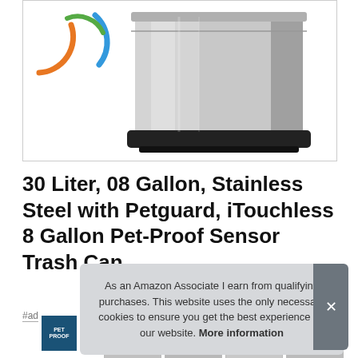[Figure (photo): A stainless steel rectangular sensor trash can with black trim base, shown against white background. Brand logo consisting of overlapping orange, blue, and green arcs visible in upper left.]
30 Liter, 08 Gallon, Stainless Steel with Petguard, iTouchless 8 Gallon Pet-Proof Sensor Trash Can
#ad
As an Amazon Associate I earn from qualifying purchases. This website uses the only necessary cookies to ensure you get the best experience on our website. More information